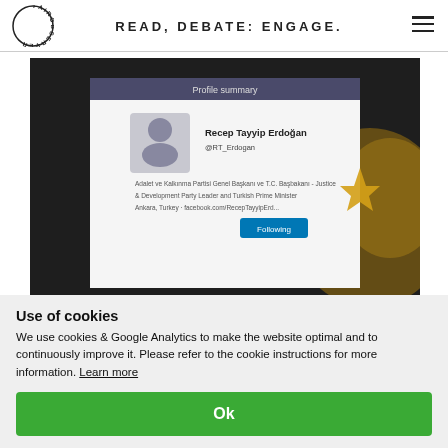READ, DEBATE: ENGAGE.
[Figure (screenshot): Screenshot of a tablet or phone displaying Recep Tayyip Erdoğan's LinkedIn/social media profile summary page, showing his profile photo, name, handle @RT_Erdogan, and description as Justice & Development Party Leader and Turkish Prime Minister, Ankara, Turkey, with a Following button.]
Use of cookies
We use cookies & Google Analytics to make the website optimal and to continuously improve it. Please refer to the cookie instructions for more information. Learn more
Ok